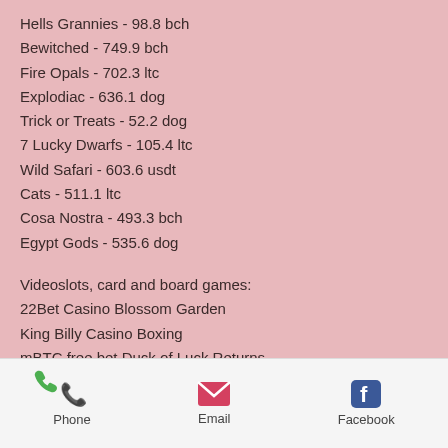Hells Grannies - 98.8 bch
Bewitched - 749.9 bch
Fire Opals - 702.3 ltc
Explodiac - 636.1 dog
Trick or Treats - 52.2 dog
7 Lucky Dwarfs - 105.4 ltc
Wild Safari - 603.6 usdt
Cats - 511.1 ltc
Cosa Nostra - 493.3 bch
Egypt Gods - 535.6 dog
Videoslots, card and board games:
22Bet Casino Blossom Garden
King Billy Casino Boxing
mBTC free bet Duck of Luck Returns
Oshi Casino Vikings Mega Reels
https://www.kabuaing.org/profile/slot
Phone  Email  Facebook